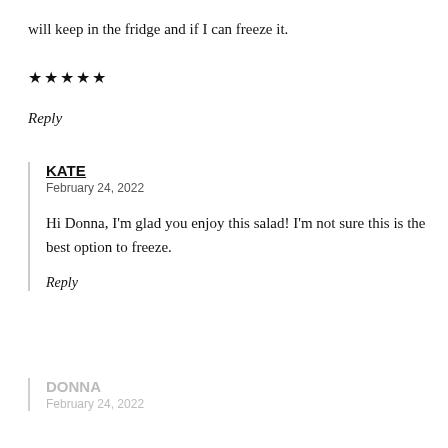will keep in the fridge and if I can freeze it.
★★★★★
Reply
KATE
February 24, 2022
Hi Donna, I'm glad you enjoy this salad! I'm not sure this is the best option to freeze.
Reply
DONNA
February 24, 2022